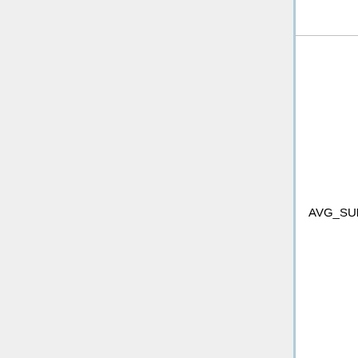| Parameter | Size | Description |
| --- | --- | --- |
| AVG_SURF_CROSS | 2/2 | Average number of surface crossings history (NOTE: accurate in ST m... |
| LOST_PARTICLES | 1 | Number of lost par... |
Run statistics
| Parameter | Size | Descr... |
| --- | --- | --- |
| CYCLE_IDX | 1 | Cycle when was p... |
|  |  | Numb... |